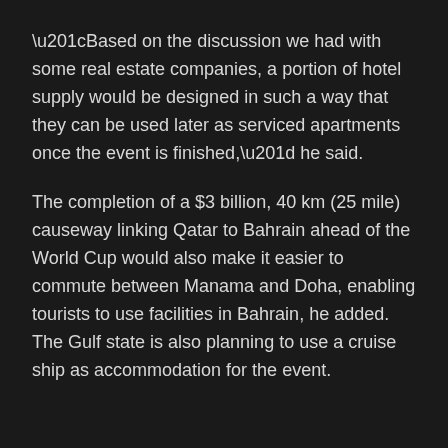“Based on the discussion we had with some real estate companies, a portion of hotel supply would be designed in such a way that they can be used later as serviced apartments once the event is finished,” he said.
The completion of a $3 billion, 40 km (25 mile) causeway linking Qatar to Bahrain ahead of the World Cup would also make it easier to commute between Manama and Doha, enabling tourists to use facilities in Bahrain, he added. The Gulf state is also planning to use a cruise ship as accommodation for the event.